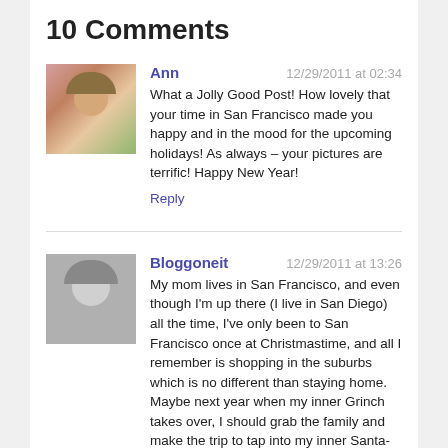10 Comments
Ann
12/29/2011 at 02:34
What a Jolly Good Post! How lovely that your time in San Francisco made you happy and in the mood for the upcoming holidays! As always – your pictures are terrific! Happy New Year!
Reply
Bloggoneit
12/29/2011 at 13:26
My mom lives in San Francisco, and even though I'm up there (I live in San Diego) all the time, I've only been to San Francisco once at Christmastime, and all I remember is shopping in the suburbs which is no different than staying home. Maybe next year when my inner Grinch takes over, I should grab the family and make the trip to tap into my inner Santa-ty(groan).
Loved the pictures–they were all so unique. I didn't know Macy's had adoptable pets in their windows; what a great use of some prime real estate. I will be skipping that window next year, though, so thank you